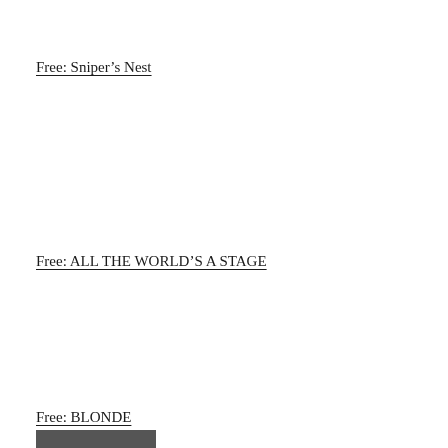Free: Sniper's Nest
Free: ALL THE WORLD'S A STAGE
Free: BLONDE